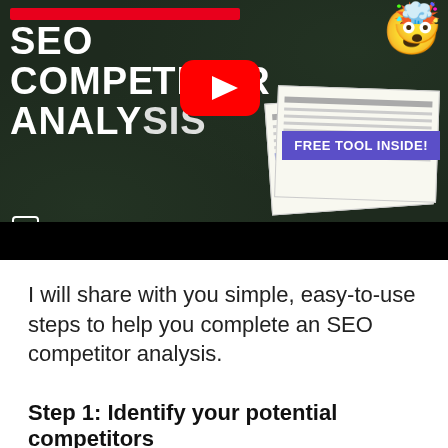[Figure (screenshot): YouTube video thumbnail showing 'SEO COMPETITOR ANALYSIS' text in white on dark chalkboard background, with YouTube play button, emoji icons, spreadsheet images, and 'FREE TOOL INSIDE!' banner in purple]
I will share with you simple, easy-to-use steps to help you complete an SEO competitor analysis.
Step 1: Identify your potential competitors